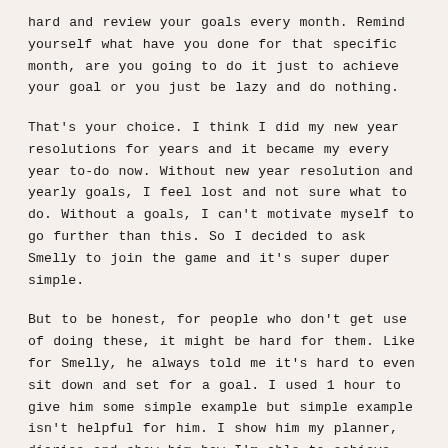hard and review your goals every month. Remind yourself what have you done for that specific month, are you going to do it just to achieve your goal or you just be lazy and do nothing.
That's your choice. I think I did my new year resolutions for years and it became my every year to-do now. Without new year resolution and yearly goals, I feel lost and not sure what to do. Without a goals, I can't motivate myself to go further than this. So I decided to ask Smelly to join the game and it's super duper simple.
But to be honest, for people who don't get use of doing these, it might be hard for them. Like for Smelly, he always told me it's hard to even sit down and set for a goal. I used 1 hour to give him some simple example but simple example isn't helpful for him. I show him my planner, diaries and show him how I'm able to achieve this and that. Then at the last few mins of our